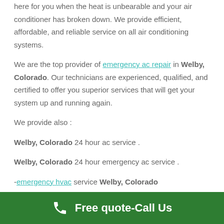here for you when the heat is unbearable and your air conditioner has broken down. We provide efficient, affordable, and reliable service on all air conditioning systems.
We are the top provider of emergency ac repair in Welby, Colorado. Our technicians are experienced, qualified, and certified to offer you superior services that will get your system up and running again.
We provide also :
Welby, Colorado 24 hour ac service .
Welby, Colorado 24 hour emergency ac service .
-emergency hvac service Welby, Colorado
Free quote-Call Us